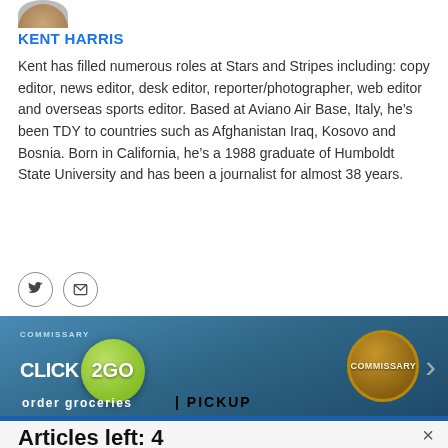[Figure (photo): Partial avatar/profile photo cropped at top]
KENT HARRIS
Kent has filled numerous roles at Stars and Stripes including: copy editor, news editor, desk editor, reporter/photographer, web editor and overseas sports editor. Based at Aviano Air Base, Italy, he’s been TDY to countries such as Afghanistan Iraq, Kosovo and Bosnia. Born in California, he’s a 1988 graduate of Humboldt State University and has been a journalist for almost 38 years.
[Figure (illustration): Social media icons: Twitter bird icon and envelope/email icon in circular outlines]
[Figure (screenshot): Commissary Click2Go advertisement banner with green circle logo, commissary badge, and text 'order groceries | PICKUP']
Articles left: 4
Subscribe to get unlimited access  Subscribe
Already have an account?  Login here